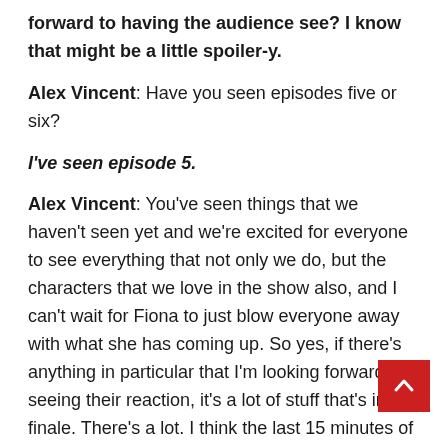forward to having the audience see? I know that might be a little spoiler-y.
Alex Vincent: Have you seen episodes five or six?
I've seen episode 5.
Alex Vincent: You've seen things that we haven't seen yet and we're excited for everyone to see everything that not only we do, but the characters that we love in the show also, and I can't wait for Fiona to just blow everyone away with what she has coming up. So yes, if there's anything in particular that I'm looking forward to seeing their reaction, it's a lot of stuff that's in the finale. There's a lot. I think the last 15 minutes of the show…I'm the anti-spoiler, so I don't get anything out. I'm like a vault, but I think the last minutes of the show is really going to blow everyone